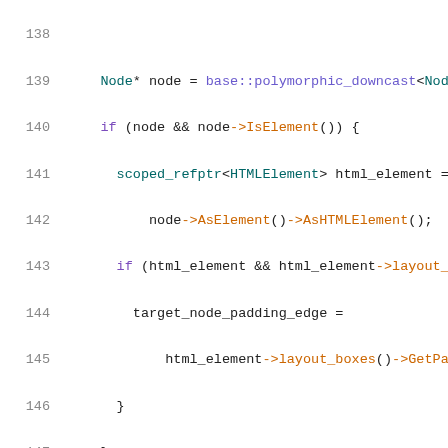Source code listing lines 138-159, C++ code for MouseEvent offset methods
138: (blank)
139:     Node* node = base::polymorphic_downcast<Node...
140:     if (node && node->IsElement()) {
141:       scoped_refptr<HTMLElement> html_element =
142:           node->AsElement()->AsHTMLElement();
143:       if (html_element && html_element->layout_...
144:         target_node_padding_edge =
145:             html_element->layout_boxes()->GetPa...
146:       }
147:     }
148:     return client_x() - target_node_padding_edge...
149:   }
150: (blank)
151:   // Return the value of the event's pageX attr...
152:   return page_x();
153: }
154: (blank)
155: float MouseEvent::offset_y() const {
156:   // Algorithm for offsetY
157:   //  https://www.w3.org/TR/2013/WD-cssom-view-...
158: (blank)
159:   // If the event's dispatch flag is set...